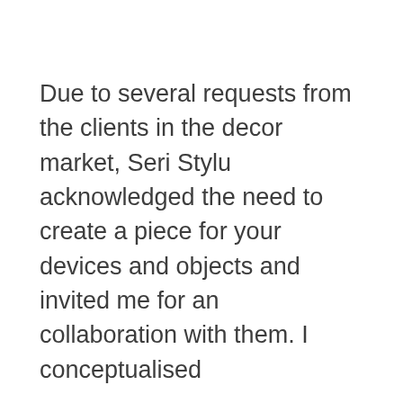Due to several requests from the clients in the decor market, Seri Stylu acknowledged the need to create a piece for your devices and objects and invited me for an collaboration with them. I conceptualised